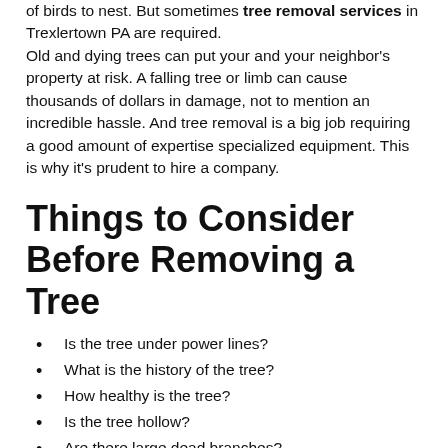of birds to nest. But sometimes tree removal services in Trexlertown PA are required.
Old and dying trees can put your and your neighbor's property at risk. A falling tree or limb can cause thousands of dollars in damage, not to mention an incredible hassle. And tree removal is a big job requiring a good amount of expertise specialized equipment. This is why it's prudent to hire a company.
Things to Consider Before Removing a Tree
Is the tree under power lines?
What is the history of the tree?
How healthy is the tree?
Is the tree hollow?
Are there large dead branches?
Are all dead branches on one side of tree?
Are there sprouts coming from the base of the